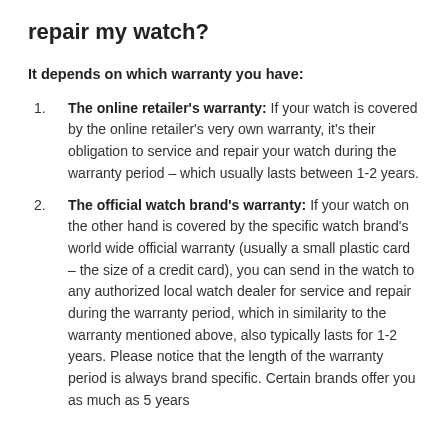repair my watch?
It depends on which warranty you have:
The online retailer's warranty: If your watch is covered by the online retailer's very own warranty, it's their obligation to service and repair your watch during the warranty period – which usually lasts between 1-2 years.
The official watch brand's warranty: If your watch on the other hand is covered by the specific watch brand's world wide official warranty (usually a small plastic card – the size of a credit card), you can send in the watch to any authorized local watch dealer for service and repair during the warranty period, which in similarity to the warranty mentioned above, also typically lasts for 1-2 years. Please notice that the length of the warranty period is always brand specific. Certain brands offer you as much as 5 years